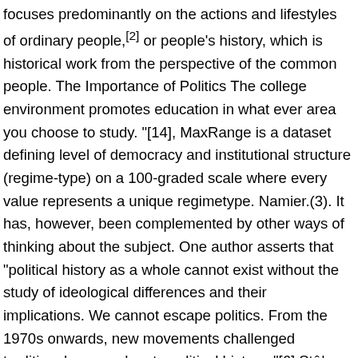focuses predominantly on the actions and lifestyles of ordinary people,[2] or people's history, which is historical work from the perspective of the common people. The Importance of Politics The college environment promotes education in what ever area you choose to study. "[14], MaxRange is a dataset defining level of democracy and institutional structure (regime-type) on a 100-graded scale where every value represents a unique regimetype. Namier.(3). It has, however, been complemented by other ways of thinking about the subject. One author asserts that "political history as a whole cannot exist without the study of ideological differences and their implications. We cannot escape politics. From the 1970s onwards, new movements challenged traditional approaches to political history. "[6] Stâ¦ While he was a keen partisan of late Victorian British imperialism, Seeley's assertion echoed a view, then common among many continental European intellectuals, which emphasised the supreme importance of the nation-state, with which 'politics' was exclusively identified. This has, in fact, been a matter of abiding History can upset the established consensus, expand narrow horizons and, in Simon Schamaâs